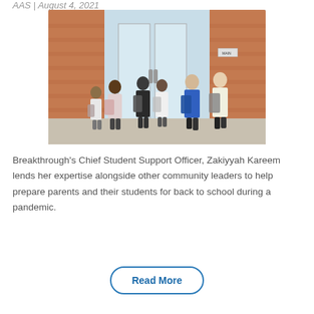AAS | August 4, 2021
[Figure (photo): Students with backpacks walking into a school building through glass doors, viewed from behind. Brick building exterior visible.]
Breakthrough's Chief Student Support Officer, Zakiyyah Kareem lends her expertise alongside other community leaders to help prepare parents and their students for back to school during a pandemic.
Read More